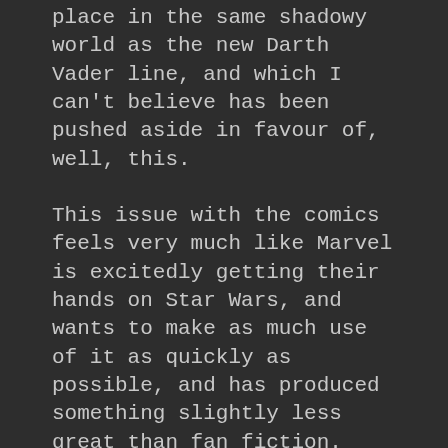place in the same shadowy world as the new Darth Vader line, and which I can't believe has been pushed aside in favour of, well, this.
This issue with the comics feels very much like Marvel is excitedly getting their hands on Star Wars, and wants to make as much use of it as quickly as possible, and has produced something slightly less great than fan fiction. Which is kinda what all EU material is, but that's besides the point. I hope, as the storylines progress, this will definitely calm down and they'll hit their stride.
I've only read two of the novels though, and while Aftermath was a let-down, I think that was largely due to the hype that surrounded it. I was expecting the next glorious chapter following the battle of Endor, and instead barely got to see even one of the big movie